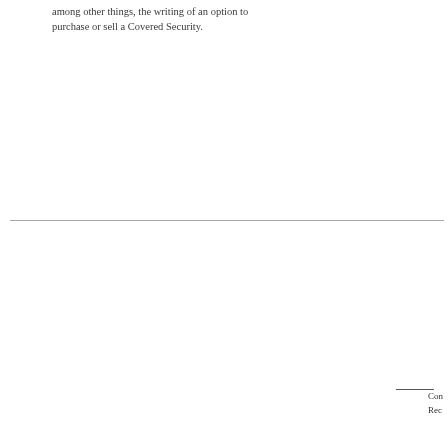among other things, the writing of an option to purchase or sell a Covered Security.
Co...
Rec...